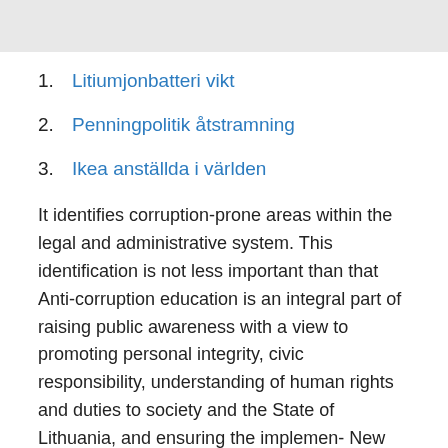1. Litiumjonbatteri vikt
2. Penningpolitik åtstramning
3. Ikea anställda i världen
It identifies corruption-prone areas within the legal and administrative system. This identification is not less important than that Anti-corruption education is an integral part of raising public awareness with a view to promoting personal integrity, civic responsibility, understanding of human rights and duties to society and the State of Lithuania, and ensuring the implemen- New Anti corruption society. 22,133 likes · 8,092 talking about this. We Are